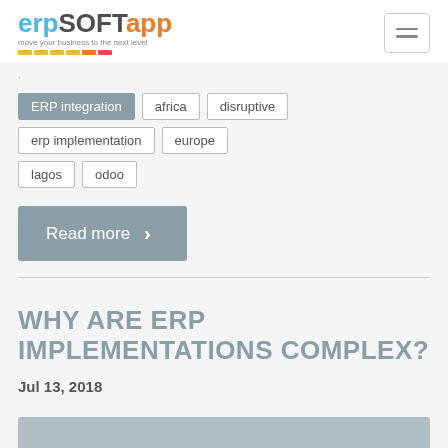erpSOFTapp - move your business to the next level
ERP integration
africa
disruptive
erp implementation
europe
lagos
odoo
Read more
WHY ARE ERP IMPLEMENTATIONS COMPLEX?
Jul 13, 2018